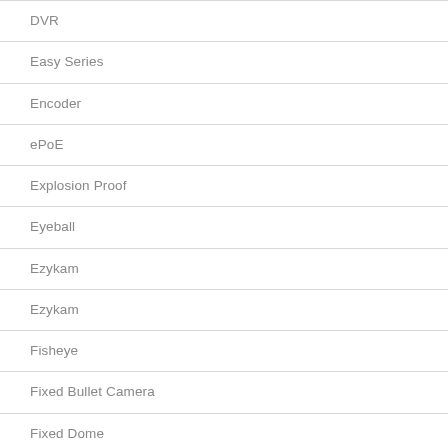DVR
Easy Series
Encoder
ePoE
Explosion Proof
Eyeball
Ezykam
Ezykam
Fisheye
Fixed Bullet Camera
Fixed Dome